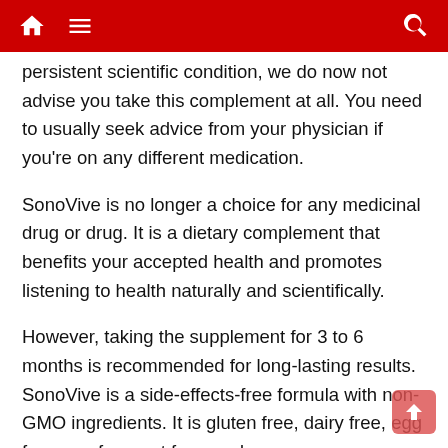[navigation bar with home, menu, and search icons]
persistent scientific condition, we do now not advise you take this complement at all. You need to usually seek advice from your physician if you're on any different medication.
SonoVive is no longer a choice for any medicinal drug or drug. It is a dietary complement that benefits your accepted health and promotes listening to health naturally and scientifically.
However, taking the supplement for 3 to 6 months is recommended for long-lasting results. SonoVive is a side-effects-free formula with non-GMO ingredients. It is gluten free, dairy free, egg free, soy free, nut free, and